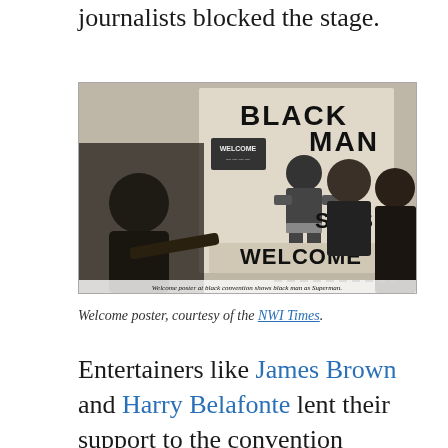journalists blocked the stage.
[Figure (photo): Black and white photograph of a welcome poster at a black convention showing black man as Superman, with people seated in front. Caption embedded in image reads: 'Welcome poster at black convention shows black man as Superman.']
Welcome poster, courtesy of the NWI Times.
Entertainers like James Brown and Harry Belafonte lent their support to the convention